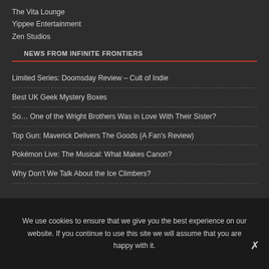The Vita Lounge
Yippee Entertainment
Zen Studios
NEWS FROM INFINITE FRONTIERS
Limited Series: Doomsday Review – Cult of Indie
Best UK Geek Mystery Boxes
So… One of the Wright Brothers Was in Love With Their Sister?
Top Gun: Maverick Delivers The Goods (A Fan's Review)
Pokémon Live: The Musical: What Makes Canon?
Why Don't We Talk About the Ice Climbers?
We use cookies to ensure that we give you the best experience on our website. If you continue to use this site we will assume that you are happy with it.